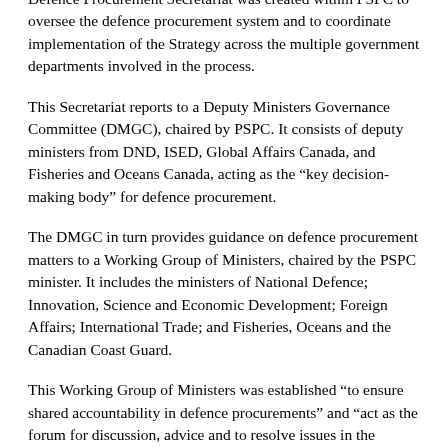Defence Procurement Secretariat was created within PSPC to oversee the defence procurement system and to coordinate implementation of the Strategy across the multiple government departments involved in the process.
This Secretariat reports to a Deputy Ministers Governance Committee (DMGC), chaired by PSPC. It consists of deputy ministers from DND, ISED, Global Affairs Canada, and Fisheries and Oceans Canada, acting as the “key decision-making body” for defence procurement.
The DMGC in turn provides guidance on defence procurement matters to a Working Group of Ministers, chaired by the PSPC minister. It includes the ministers of National Defence; Innovation, Science and Economic Development; Foreign Affairs; International Trade; and Fisheries, Oceans and the Canadian Coast Guard.
This Working Group of Ministers was established “to ensure shared accountability in defence procurements” and “act as the forum for discussion, advice and to resolve issues in the implementation of major procurement projects.”